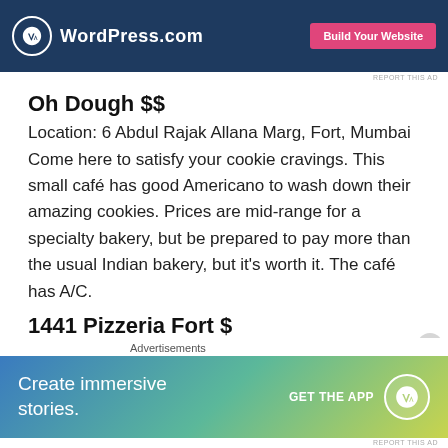[Figure (screenshot): WordPress.com advertisement banner with dark blue background, WordPress logo, and pink 'Build Your Website' button]
REPORT THIS AD
Oh Dough $$
Location: 6 Abdul Rajak Allana Marg, Fort, Mumbai
Come here to satisfy your cookie cravings. This small café has good Americano to wash down their amazing cookies. Prices are mid-range for a specialty bakery, but be prepared to pay more than the usual Indian bakery, but it's worth it. The café has A/C.
1441 Pizzeria Fort $
Location: No. 5 ground floor, 58/64, SB Patil Rd, Fort, Mumbai
[Figure (screenshot): WordPress.com advertisement banner with gradient background (blue to green to yellow), 'Create immersive stories.' text, 'GET THE APP' button, and WordPress logo]